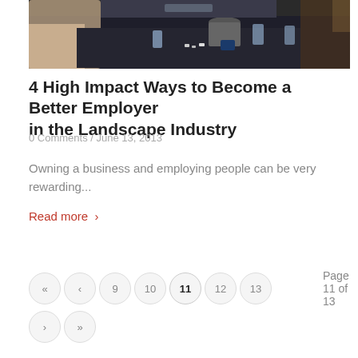[Figure (photo): People sitting around a dark conference table with glasses of water, papers, and electronic devices]
4 High Impact Ways to Become a Better Employer in the Landscape Industry
0 Comments / June 13, 2013
Owning a business and employing people can be very rewarding...
Read more >
« ‹ 9 10 11 12 13   Page 11 of 13
› »